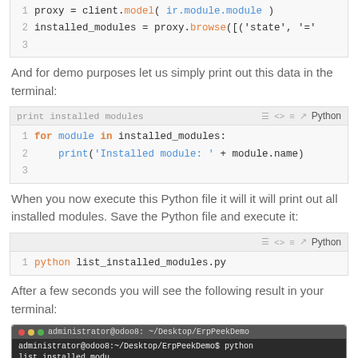[Figure (screenshot): Code block (top, partially visible) showing Python: line 1: proxy = client.model( ir.module.module ), line 2: installed_modules = proxy.browse([('state', '='}, line 3: (empty)]
And for demo purposes let us simply print out this data in the terminal:
[Figure (screenshot): Code block titled 'print installed modules' with Python syntax: line 1: for module in installed_modules:, line 2:     print('Installed module: ' + module.name), line 3: (empty)]
When you now execute this Python file it will it will print out all installed modules. Save the Python file and execute it:
[Figure (screenshot): Code block with Python: line 1: python list_installed_modules.py]
After a few seconds you will see the following result in your terminal:
[Figure (screenshot): Terminal window showing administrator@odoo8:~/Desktop/ErpPeekDemo with output below]